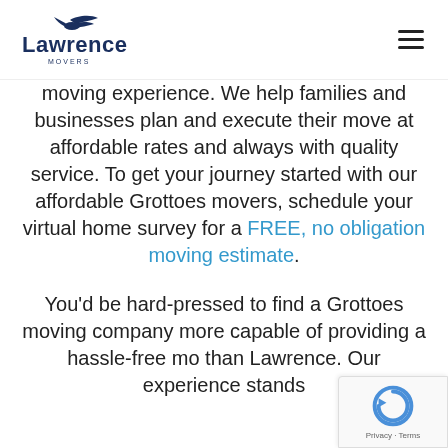Lawrence Movers
moving experience. We help families and businesses plan and execute their move at affordable rates and always with quality service. To get your journey started with our affordable Grottoes movers, schedule your virtual home survey for a FREE, no obligation moving estimate.
You’d be hard-pressed to find a Grottoes moving company more capable of providing a hassle-free mo than Lawrence. Our experience stands